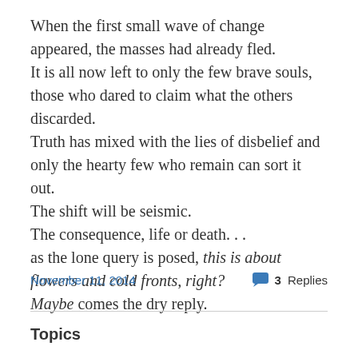When the first small wave of change appeared, the masses had already fled.
It is all now left to only the few brave souls, those who dared to claim what the others discarded.
Truth has mixed with the lies of disbelief and only the hearty few who remain can sort it out.
The shift will be seismic.
The consequence, life or death. . .
as the lone query is posed, this is about flowers and cold fronts, right?
Maybe comes the dry reply.
November 11, 2014
3 Replies
Topics